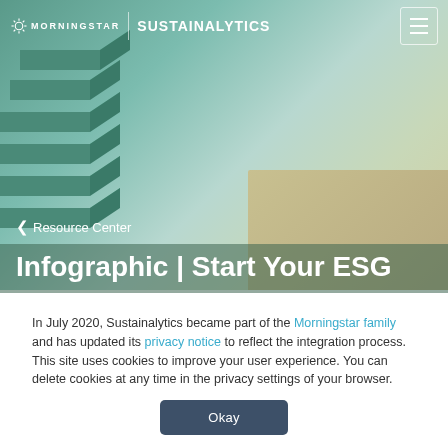[Figure (illustration): 3D rendered staircase ascending from bottom-left to upper-right against a teal/sage green gradient background with a beige platform on the right side]
MORNINGSTAR | SUSTAINALYTICS
❮ Resource Center
Infographic | Start Your ESG
In July 2020, Sustainalytics became part of the Morningstar family and has updated its privacy notice to reflect the integration process. This site uses cookies to improve your user experience. You can delete cookies at any time in the privacy settings of your browser.
Okay